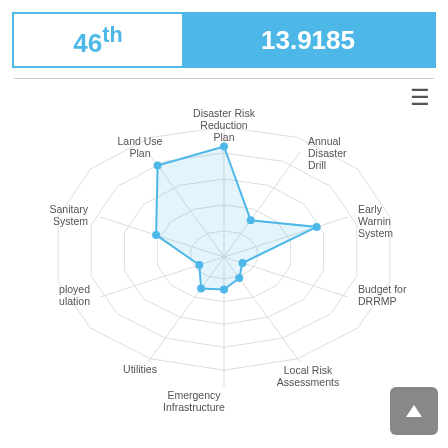| Rank | Score |
| --- | --- |
| 46th | 13.9185 |
[Figure (radar-chart): Radar chart showing scores across 10 disaster risk resilience indicators including Land Use Plan, Disaster Risk Reduction Plan, Annual Disaster Drill, Early Warning System, Budget for DRRMP, Local Risk Assessments, Emergency Infrastructure, Utilities, ployed ulation, and Sanitary System.]